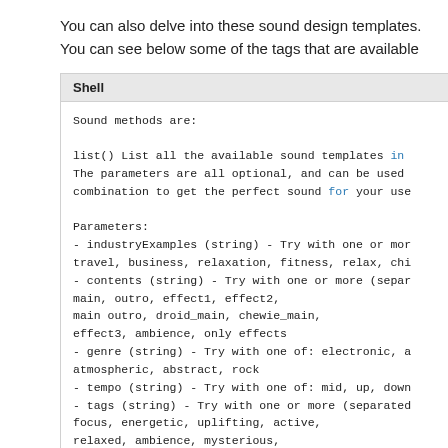You can also delve into these sound design templates.
You can see below some of the tags that are available
Shell

Sound methods are:

list() List all the available sound templates in
The parameters are all optional, and can be used
combination to get the perfect sound for your use

Parameters:
- industryExamples (string) - Try with one or mor
travel, business, relaxation, fitness, relax, chi
- contents (string) - Try with one or more (separ
main, outro, effect1, effect2,
main outro, droid_main, chewie_main,
effect3, ambience, only effects
- genre (string) - Try with one of: electronic, a
atmospheric, abstract, rock
- tempo (string) - Try with one of: mid, up, down
- tags (string) - Try with one or more (separated
focus, energetic, uplifting, active,
relaxed, ambience, mysterious,